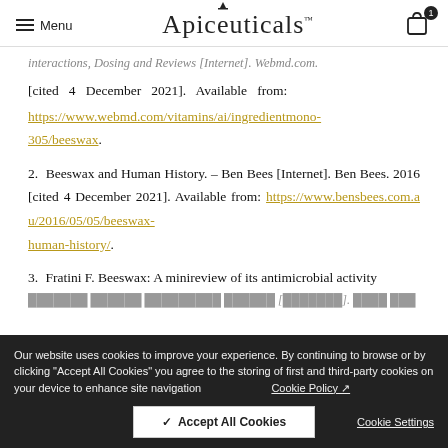Menu | Apiceuticals | Cart (1)
interactions, Dosing and Reviews [Internet]. Webmd.com. [cited 4 December 2021]. Available from: https://www.webmd.com/vitamins/ai/ingredientmono-305/beeswax.
2. Beeswax and Human History. – Ben Bees [Internet]. Ben Bees. 2016 [cited 4 December 2021]. Available from: https://www.bensbees.com.au/2016/05/05/beeswax-human-history/.
3. Fratini F. Beeswax: A minireview of its antimicrobial activity
Our website uses cookies to improve your experience. By continuing to browse or by clicking "Accept All Cookies" you agree to the storing of first and third-party cookies on your device to enhance site navigation   Cookie Policy   Accept All Cookies   Cookie Settings